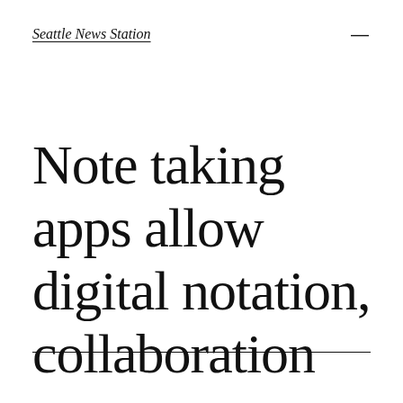Seattle News Station
Note taking apps allow digital notation, collaboration